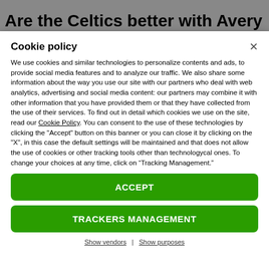Are the Celtics better with Avery
Cookie policy
We use cookies and similar technologies to personalize contents and ads, to provide social media features and to analyze our traffic. We also share some information about the way you use our site with our partners who deal with web analytics, advertising and social media content: our partners may combine it with other information that you have provided them or that they have collected from the use of their services. To find out in detail which cookies we use on the site, read our Cookie Policy. You can consent to the use of these technologies by clicking the "Accept" button on this banner or you can close it by clicking on the "X", in this case the default settings will be maintained and that does not allow the use of cookies or other tracking tools other than technologycal ones. To change your choices at any time, click on “Tracking Management.”
ACCEPT
TRACKERS MANAGEMENT
Show vendors | Show purposes